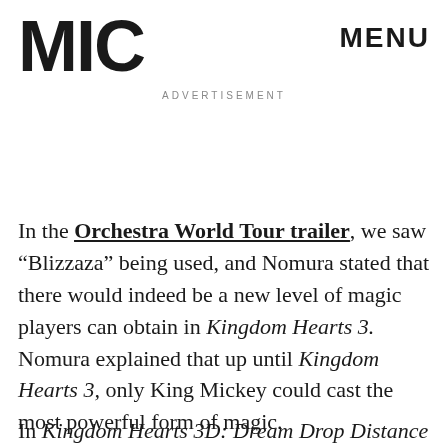MIC   ADVERTISEMENT   MENU
In the Orchestra World Tour trailer, we saw “Blizzaza” being used, and Nomura stated that there would indeed be a new level of magic players can obtain in Kingdom Hearts 3. Nomura explained that up until Kingdom Hearts 3, only King Mickey could cast the most powerful form of magic.
In Kingdom Hearts 3D: Dream Drop Distance we saw